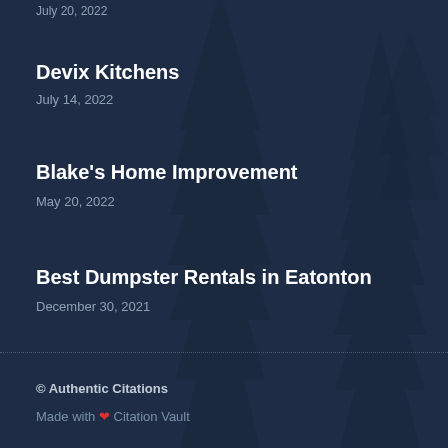July 20, 2022 (clipped at top)
Devix Kitchens
July 14, 2022
Blake's Home Improvement
May 20, 2022
Best Dumpster Rentals in Eatonton
December 30, 2021
© Authentic Citations
Made with ❤ Citation Vault